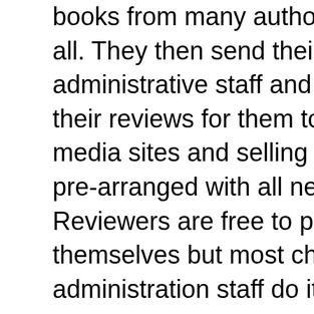books from many authors and many genre's all. They then send their reviews to my administrative staff and we then distribute their reviews for them to the different social media sites and selling platforms. This is all pre-arranged with all new reviewers. Reviewers are free to post their reviews for themselves but most choose to let the administration staff do it for them.
Negativity is not tolerated on the site. Only books that the reviewers deem a 3 star or better is advertised by this blog. If a book is not up to those standards, we try
1 comm
Lia
Tha
Rep
E
Newer Post
Subscribe to
Search This B
Julie's Book
Hello, all my authors and a authors pleas